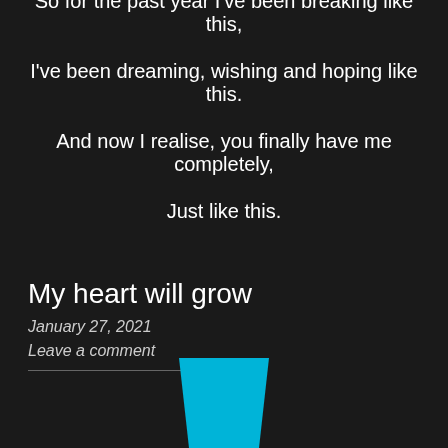So for the past year I've been breaking like this,
I've been dreaming, wishing and hoping like this.
And now I realise, you finally have me completely,
Just like this.
My heart will grow
January 27, 2021
Leave a comment
[Figure (illustration): Cyan/teal trapezoid shape at the bottom center of the page]